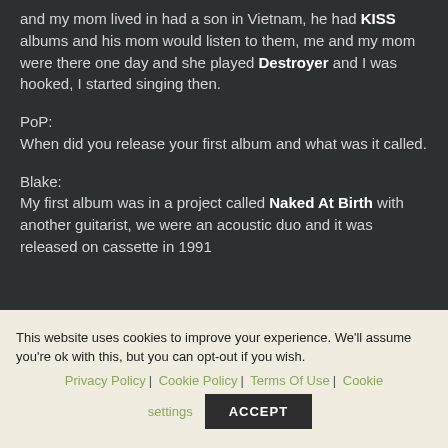and my mom lived in had a son in Vietnam, he had KISS albums and his mom would listen to them, me and my mom were there one day and she played Destroyer and I was hooked, I started singing then.
PoP:
When did you release your first album and what was it called.
Blake:
My first album was in a project called Naked At Birth with another guitarist, we were an acoustic duo and it was released on cassette in 1991
This website uses cookies to improve your experience. We'll assume you're ok with this, but you can opt-out if you wish.
Privacy Policy | Cookie Policy | Terms Of Use | Cookie settings
ACCEPT